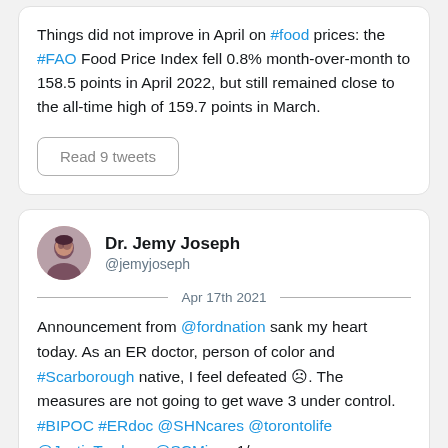Things did not improve in April on #food prices: the #FAO Food Price Index fell 0.8% month-over-month to 158.5 points in April 2022, but still remained close to the all-time high of 159.7 points in March.
Read 9 tweets
Dr. Jemy Joseph @jemyjoseph Apr 17th 2021
Announcement from @fordnation sank my heart today. As an ER doctor, person of color and #Scarborough native, I feel defeated 😞. The measures are not going to get wave 3 under control. #BIPOC #ERdoc @SHNcares @torontolife @JustinTrudeau @SCMirror 1/